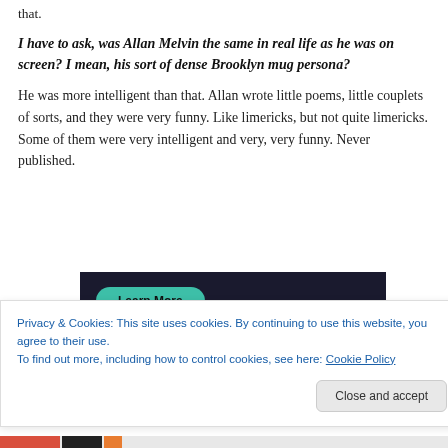that.
I have to ask, was Allan Melvin the same in real life as he was on screen?  I mean, his sort of dense Brooklyn mug persona?
He was more intelligent than that.  Allan wrote little poems, little couplets of sorts, and they were very funny.  Like limericks, but not quite limericks.  Some of them were very intelligent and very, very funny.  Never published.
[Figure (screenshot): Dark banner with teal 'Learn More' button]
Privacy & Cookies: This site uses cookies. By continuing to use this website, you agree to their use.
To find out more, including how to control cookies, see here: Cookie Policy
Close and accept